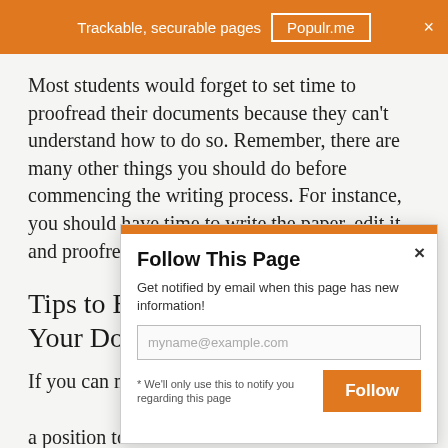Trackable, securable pages | Populr.me
Most students would forget to set time to proofread their documents because they can't understand how to do so. Remember, there are many other things you should do before commencing the writing process. For instance, you should have time to write the paper, edit it, and proofread it.
Tips to Enable You to Proofread Your Documents
If you can manage your time properly, you will be in a position to manage your studies without interfering with your paper. You should be ready to handle all your commitments to...
[Figure (screenshot): Follow This Page modal popup with orange top bar, title 'Follow This Page', description text 'Get notified by email when this page has new information!', an email input field with placeholder 'myname@example.com', a note '* We'll only use this to notify you regarding this page', and an orange Follow button.]